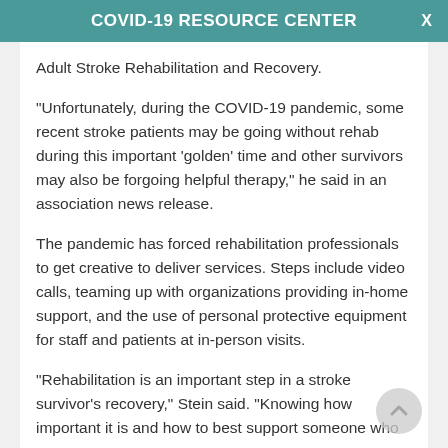COVID-19 RESOURCE CENTER
Adult Stroke Rehabilitation and Recovery.
"Unfortunately, during the COVID-19 pandemic, some recent stroke patients may be going without rehab during this important 'golden' time and other survivors may also be forgoing helpful therapy," he said in an association news release.
The pandemic has forced rehabilitation professionals to get creative to deliver services. Steps include video calls, teaming up with organizations providing in-home support, and the use of personal protective equipment for staff and patients at in-person visits.
"Rehabilitation is an important step in a stroke survivor's recovery," Stein said. "Knowing how important it is and how to best support someone who